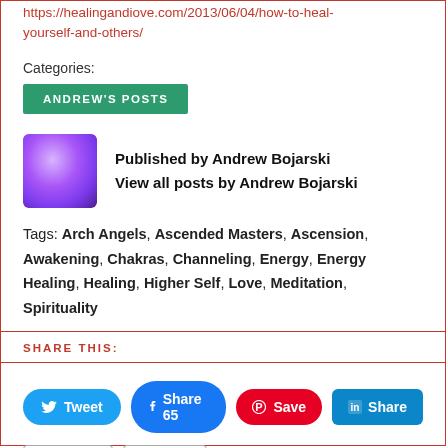https://healingandiove.com/2013/06/04/how-to-heal-yourself-and-others/
Categories:
ANDREW'S POSTS
Published by Andrew Bojarski
View all posts by Andrew Bojarski
Tags: Arch Angels, Ascended Masters, Ascension, Awakening, Chakras, Channeling, Energy, Energy Healing, Healing, Higher Self, Love, Meditation, Spirituality
SHARE THIS:
Tweet  Share 65  Save  Share  Email  Print